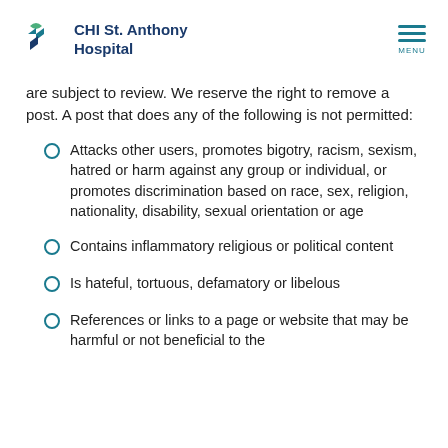CHI St. Anthony Hospital
are subject to review. We reserve the right to remove a post. A post that does any of the following is not permitted:
Attacks other users, promotes bigotry, racism, sexism, hatred or harm against any group or individual, or promotes discrimination based on race, sex, religion, nationality, disability, sexual orientation or age
Contains inflammatory religious or political content
Is hateful, tortuous, defamatory or libelous
References or links to a page or website that may be harmful or not beneficial to the